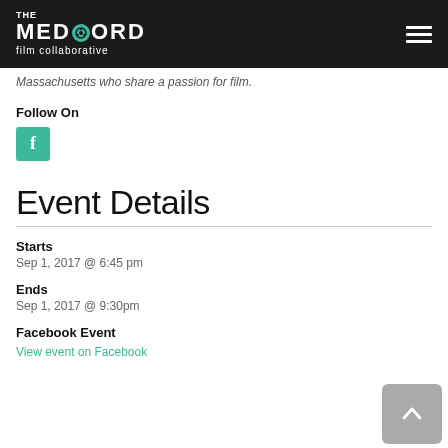THE MEDFORD film collaborative
Massachusetts who share a passion for film.
Follow On
[Figure (logo): Facebook icon - teal square with white 'f' letter]
Event Details
Starts
Sep 1, 2017 @ 6:45 pm
Ends
Sep 1, 2017 @ 9:30pm
Facebook Event
View event on Facebook